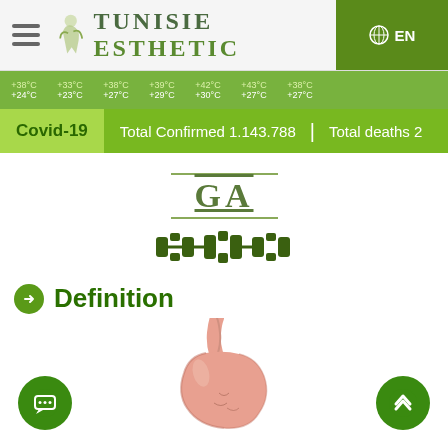TUNISIE ESTHETIC | EN
+38°C +24°C | +33°C +23°C | +38°C +27°C | +39°C +29°C | +42°C +30°C | +43°C +27°C | +38°C +27°C
Covid-19  Total Confirmed 1.143.788  |  Total deaths 2
GA
[Figure (illustration): DNA double helix decorative icon in dark green]
Definition
[Figure (illustration): Medical illustration of a human stomach, pink/salmon colored, showing the esophagus connection at top and stomach body below]